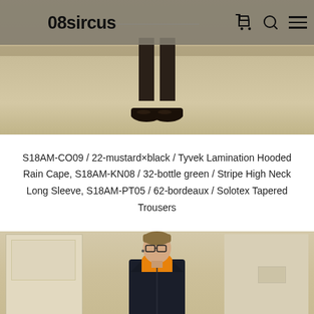[Figure (screenshot): Website header with gray navigation bar showing '08sircus' logo in bold black text, cart icon, search icon, and hamburger menu. Background shows a cropped photo of a person's legs and dark shoes on a light beige floor.]
S18AM-CO09 / 22-mustard×black / Tyvek Lamination Hooded Rain Cape, S18AM-KN08 / 32-bottle green / Stripe High Neck Long Sleeve, S18AM-PT05 / 62-bordeaux / Solotex Tapered Trousers
[Figure (photo): Fashion photograph of a young person wearing glasses, a dark navy jacket over an orange/yellow high-neck sweater, standing in a room with beige/cream walls and door panels.]